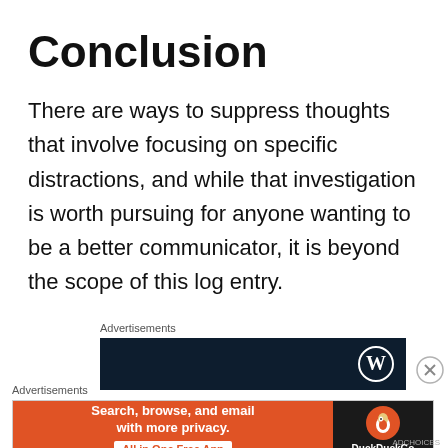Conclusion
There are ways to suppress thoughts that involve focusing on specific distractions, and while that investigation is worth pursuing for anyone wanting to be a better communicator, it is beyond the scope of this log entry.
Advertisements
[Figure (other): Dark navy blue advertisement banner with WordPress logo (W in circle) on the right side]
[Figure (other): Close/dismiss button (circle with X) for advertisement]
Advertisements
[Figure (other): DuckDuckGo advertisement banner with orange left panel reading 'Search, browse, and email with more privacy. All in One Free App' and dark right panel with DuckDuckGo logo and brand name]
ADCHOICES